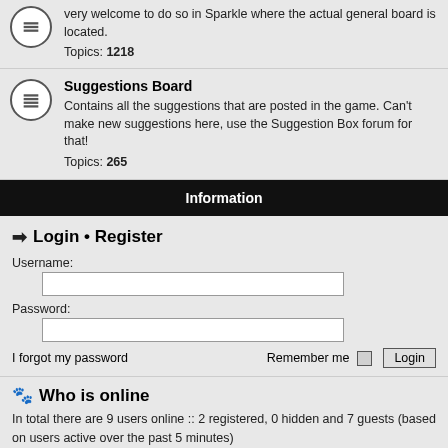very welcome to do so in Sparkle where the actual general board is located.
Topics: 1218
Suggestions Board
Contains all the suggestions that are posted in the game. Can't make new suggestions here, use the Suggestion Box forum for that!
Topics: 265
Information
Login • Register
Username:
Password:
I forgot my password
Remember me
Who is online
In total there are 9 users online :: 2 registered, 0 hidden and 7 guests (based on users active over the past 5 minutes)
Most users ever online was 321 on 09 Jul 2020 07:03